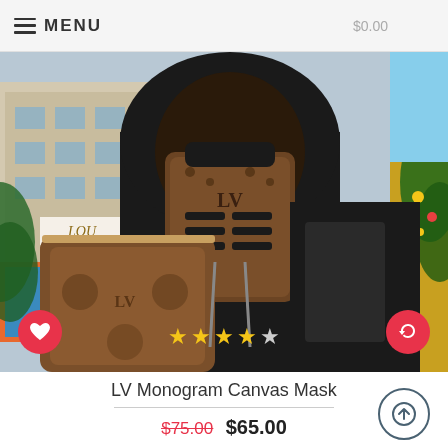MENU $0.00
[Figure (photo): Person wearing a Louis Vuitton monogram canvas face mask and carrying an LV monogram bag, standing in front of a Louis Vuitton store in a city setting. Black hoodie underneath. LV monogram canvas mask covers the face with ventilation slots. Rating: 4 stars shown at bottom of image.]
LV Monogram Canvas Mask
$75.00  $65.00
ADD TO CART